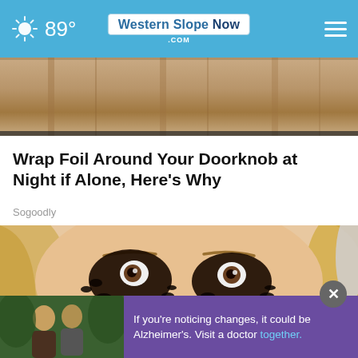89° — WesternSlopeNow.com
[Figure (photo): Top portion of a door with wooden panels, brownish tan color, cropped, showing a partial article image]
Wrap Foil Around Your Doorknob at Night if Alone, Here's Why
Sogoodly
[Figure (photo): Close-up portrait of a blonde woman with dramatic Halloween-style bug eye makeup — dark clustered false lashes covering most of her eye area, holding a pink item near her eye. Lower portion overlaid with an advertisement banner.]
If you're noticing changes, it could be Alzheimer's. Visit a doctor together.